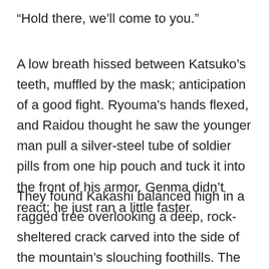“Hold there, we’ll come to you.”
A low breath hissed between Katsuko’s teeth, muffled by the mask; anticipation of a good fight. Ryouma's hands flexed, and Raidou thought he saw the younger man pull a silver-steel tube of soldier pills from one hip pouch and tuck it into the front of his armor. Genma didn’t react; he just ran a little faster.
They found Kakashi balanced high in a ragged tree overlooking a deep, rock-sheltered crack carved into the side of the mountain’s slouching foothills. The mine entrance was too shadowed to